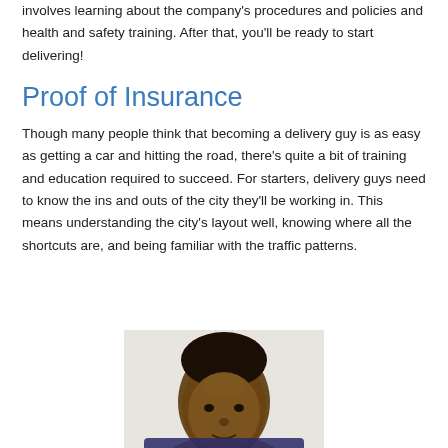involves learning about the company's procedures and policies and health and safety training. After that, you'll be ready to start delivering!
Proof of Insurance
Though many people think that becoming a delivery guy is as easy as getting a car and hitting the road, there's quite a bit of training and education required to succeed. For starters, delivery guys need to know the ins and outs of the city they'll be working in. This means understanding the city's layout well, knowing where all the shortcuts are, and being familiar with the traffic patterns.
[Figure (photo): Head and shoulders photo of a man looking at the camera, partially visible at the bottom of the page]